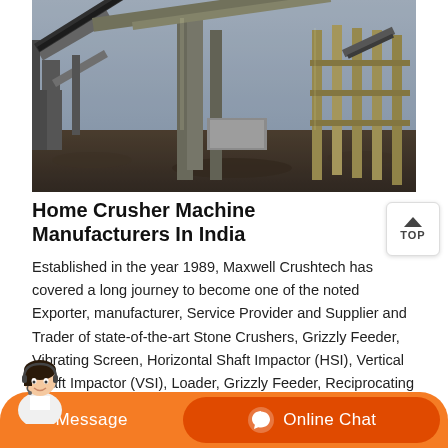[Figure (photo): Industrial stone crusher plant facility with conveyor belts, steel structures, and rock aggregate on ground, photographed outdoors in daylight.]
Home Crusher Machine Manufacturers In India
Established in the year 1989, Maxwell Crushtech has covered a long journey to become one of the noted Exporter, manufacturer, Service Provider and Supplier and Trader of state-of-the-art Stone Crushers, Grizzly Feeder, Vibrating Screen, Horizontal Shaft Impactor (HSI), Vertical Shaft Impactor (VSI), Loader, Grizzly Feeder, Reciprocating Feeder etc.Impactor (HSI), Loader,
[Figure (infographic): Bottom action bar with orange background showing Message button on the left and Online Chat button on the right with a chat icon, and a customer service agent photo on the far left.]